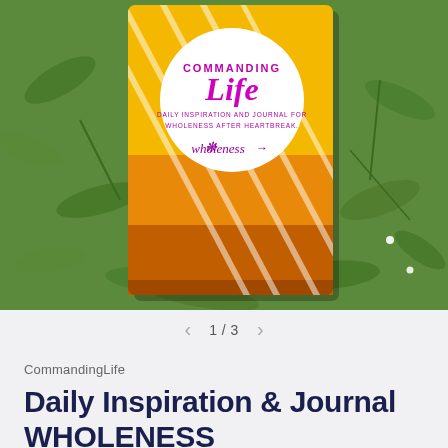[Figure (photo): A yellow and orange journal/book titled 'Commanding Life — Daily Inspiration and Journal for Wholeness After Heartbreak' with 'wholeness' written in cursive with arrows, displayed on green foliage grass background]
1/3
CommandingLife
Daily Inspiration & Journal WHOLENESS